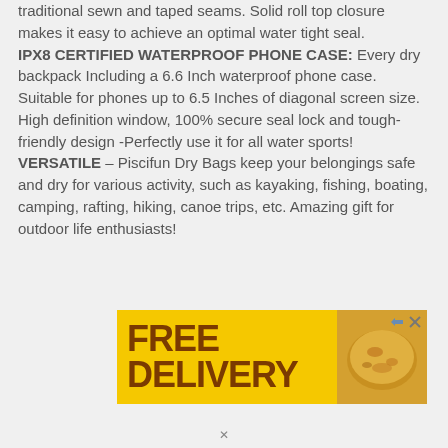traditional sewn and taped seams. Solid roll top closure makes it easy to achieve an optimal water tight seal.
IPX8 CERTIFIED WATERPROOF PHONE CASE: Every dry backpack Including a 6.6 Inch waterproof phone case. Suitable for phones up to 6.5 Inches of diagonal screen size. High definition window, 100% secure seal lock and tough-friendly design -Perfectly use it for all water sports!
VERSATILE – Piscifun Dry Bags keep your belongings safe and dry for various activity, such as kayaking, fishing, boating, camping, rafting, hiking, canoe trips, etc. Amazing gift for outdoor life enthusiasts!
[Figure (other): Advertisement banner with yellow background showing 'FREE DELIVERY' text in dark brown bold font and a food image on the right, with close/skip icons in upper right corner.]